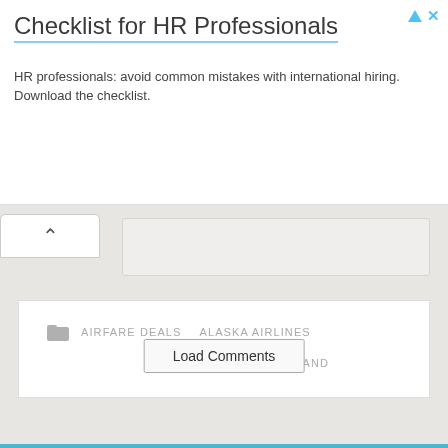Checklist for HR Professionals
HR professionals: avoid common mistakes with international hiring. Download the checklist.
AIRFARE DEALS   ALASKA AIRLINES   OREGON   PORTLAND
Load Comments